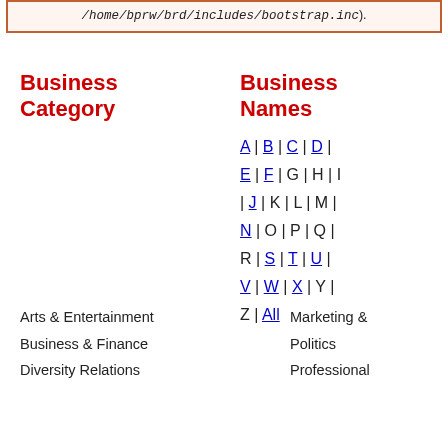/home/bprw/brd/includes/bootstrap.inc).
Business Category
Business Names
A | B | C | D | E | F | G | H | I | J | K | L | M | N | O | P | Q | R | S | T | U | V | W | X | Y | Z | All
Arts & Entertainment
Business & Finance
Diversity Relations
Marketing &
Politics
Professional